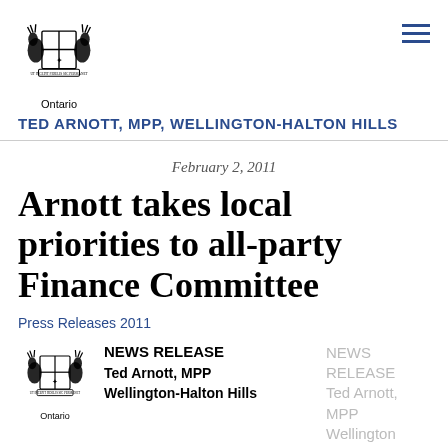[Figure (logo): Ontario coat of arms crest with two deer/moose supporters, shield with cross and maple leaves, and 'Ontario' text below]
TED ARNOTT, MPP, WELLINGTON-HALTON HILLS
February 2, 2011
Arnott takes local priorities to all-party Finance Committee
Press Releases 2011
[Figure (logo): Ontario coat of arms crest with NEWS RELEASE Ted Arnott, MPP Wellington-Halton Hills text]
NEWS RELEASE Ted Arnott, MPP Wellington-Halton Hills
NEWS RELEASE Ted Arnott, MPP Wellington-